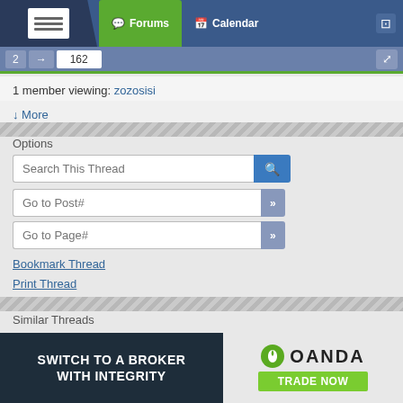Forums | Calendar
1 member viewing: zozosisi
↓ More
Options
Search This Thread
Go to Post#
Go to Page#
Bookmark Thread
Print Thread
Similar Threads
Consecutive Candles Williams %R and Volume with 55EMA Baseline
786 replies
M candles / Custom candles for second charts
0 replies
[Figure (screenshot): OANDA broker advertisement banner: SWITCH TO A BROKER WITH INTEGRITY | OANDA TRADE NOW]